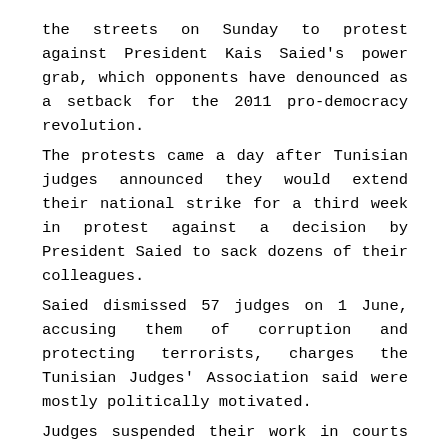the streets on Sunday to protest against President Kais Saied's power grab, which opponents have denounced as a setback for the 2011 pro-democracy revolution.
The protests came a day after Tunisian judges announced they would extend their national strike for a third week in protest against a decision by President Saied to sack dozens of their colleagues.
Saied dismissed 57 judges on 1 June, accusing them of corruption and protecting terrorists, charges the Tunisian Judges' Association said were mostly politically motivated.
Judges suspended their work in courts three days later and said the president's decisions were designed to control the judiciary and its use against his political opponents.
The protest was organized by the Salvation Front, a coalition including the Ennahda party, which was the largest in parliament until Saied dissolved it. The protesters marched through central Tunis to Avenue Habibi Bourguiba, watched by a heavy police presence.
Since his 25 July power grab last year, Saied has announced a set of controversial measures, which include the suspension of parliament, shutting down the country's independent anti-corruption authority and